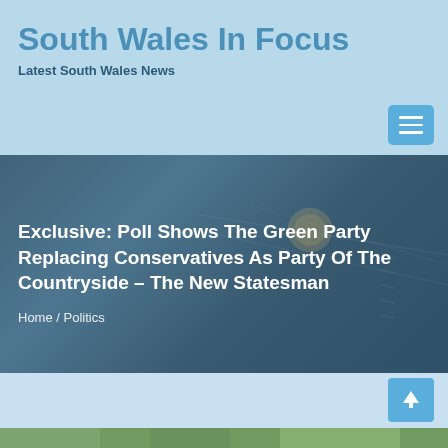South Wales In Focus
Latest South Wales News
[Figure (screenshot): Hamburger menu icon button (three horizontal lines) on a blue rounded square background]
[Figure (photo): Dark blue-grey toned hero banner with blurred background showing what appears to be a compass or ruler on paper]
Exclusive: Poll Shows The Green Party Replacing Conservatives As Party Of The Countryside – The New Statesman
Home / Politics
[Figure (photo): Scroll-to-top arrow button on blue square background]
[Figure (photo): Green vegetation/countryside image strip at bottom of page]